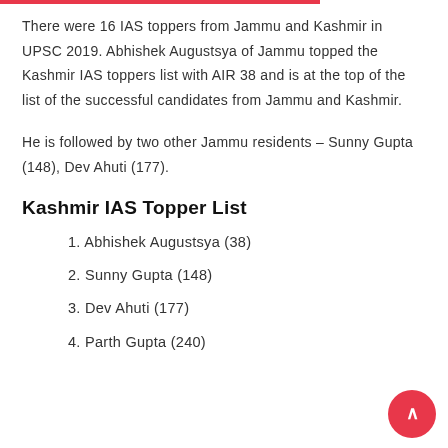There were 16 IAS toppers from Jammu and Kashmir in UPSC 2019. Abhishek Augustsya of Jammu topped the Kashmir IAS toppers list with AIR 38 and is at the top of the list of the successful candidates from Jammu and Kashmir.
He is followed by two other Jammu residents – Sunny Gupta (148), Dev Ahuti (177).
Kashmir IAS Topper List
1. Abhishek Augustsya (38)
2. Sunny Gupta (148)
3. Dev Ahuti (177)
4. Parth Gupta (240)